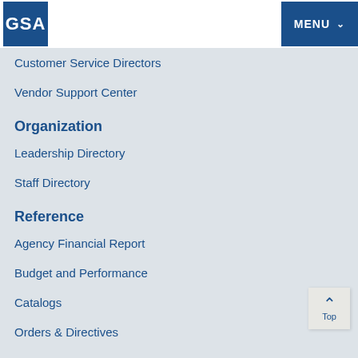GSA | MENU
Customer Service Directors
Vendor Support Center
Organization
Leadership Directory
Staff Directory
Reference
Agency Financial Report
Budget and Performance
Catalogs
Orders & Directives
Forms